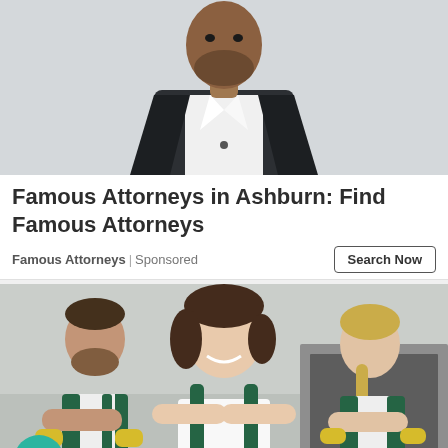[Figure (photo): Man in dark suit jacket and white dress shirt, photographed from chest up, on a light gray background — advertisement image for attorneys]
Famous Attorneys in Ashburn: Find Famous Attorneys
Famous Attorneys | Sponsored
Search Now
[Figure (photo): Three cleaning staff workers in green overalls and white shirts, wearing yellow rubber gloves, smiling and posing with arms crossed in a kitchen setting]